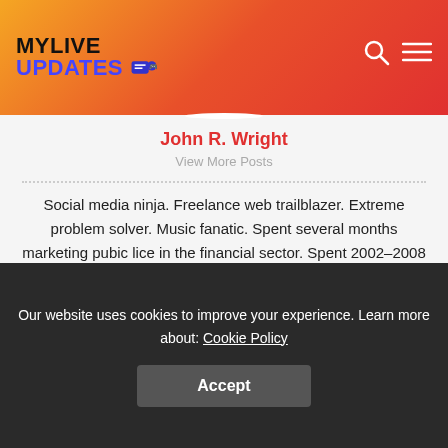MYLIVE UPDATES
[Figure (photo): Black and white circular profile photo of a person]
John R. Wright
View More Posts
Social media ninja. Freelance web trailblazer. Extreme problem solver. Music fanatic. Spent several months marketing pubic lice in the financial sector. Spent 2002–2008 supervising the production of ice cream in Africa. Had some great experience developing robotic shrimp in the aftermarket. Spent several years getting my feet wet with puppets in Miami, FL.
Our website uses cookies to improve your experience. Learn more about: Cookie Policy
Accept